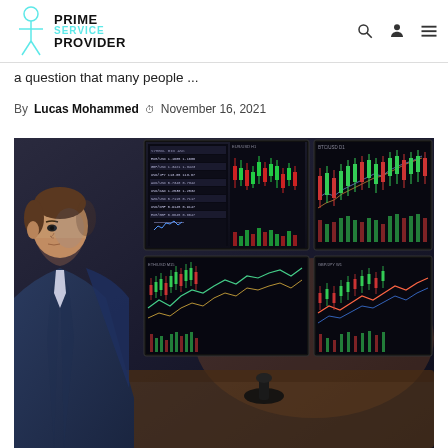PRIME SERVICE PROVIDER
a question that many people ...
By Lucas Mohammed  November 16, 2021
[Figure (photo): A man in a dark suit jacket viewed from the side, looking at multiple trading monitors displaying stock charts, candlestick charts, and financial data screens in a dark trading workstation setup.]